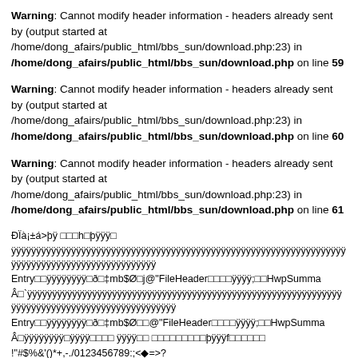Warning: Cannot modify header information - headers already sent by (output started at /home/dong_afairs/public_html/bbs_sun/download.php:23) in /home/dong_afairs/public_html/bbs_sun/download.php on line 59
Warning: Cannot modify header information - headers already sent by (output started at /home/dong_afairs/public_html/bbs_sun/download.php:23) in /home/dong_afairs/public_html/bbs_sun/download.php on line 60
Warning: Cannot modify header information - headers already sent by (output started at /home/dong_afairs/public_html/bbs_sun/download.php:23) in /home/dong_afairs/public_html/bbs_sun/download.php on line 61
ÐÏà¡±á>þÿ □□□h□þÿÿÿ□
ÿÿÿÿÿÿÿÿÿÿÿÿÿÿÿÿÿÿÿÿÿÿÿÿÿÿÿÿÿÿÿÿÿÿÿÿÿÿÿÿÿÿÿÿÿÿÿÿÿÿÿÿÿÿÿÿÿÿÿÿÿÿÿÿÿÿÿÿÿÿÿÿÿÿÿÿÿÿÿÿÿ
Entry□□ÿÿÿÿÿÿÿÿ□ð□‡mb$Ø□j@"FileHeader□□□□ÿÿÿÿ;□□HwpSumma
Â□`ÿÿÿÿÿÿÿÿÿÿÿÿÿÿÿÿÿÿÿÿÿÿÿÿÿÿÿÿÿÿÿÿÿÿÿÿÿÿÿÿÿÿÿÿÿÿÿÿÿÿÿÿÿÿÿÿÿÿÿÿÿÿÿÿÿÿÿÿÿÿÿÿÿÿÿÿÿÿÿÿÿ
Entry□□ÿÿÿÿÿÿÿÿ□ð□‡mb$Ø□□@"FileHeader□□□□ÿÿÿÿ;□□HwpSumma
Â□ÿÿÿÿÿÿÿÿ□ÿÿÿÿ□□□□ ÿÿÿÿ□□ □□□□□□□□□þÿÿÿf□□□□□□
!"#$%&'()*+,-./0123456789:;<◆=>?